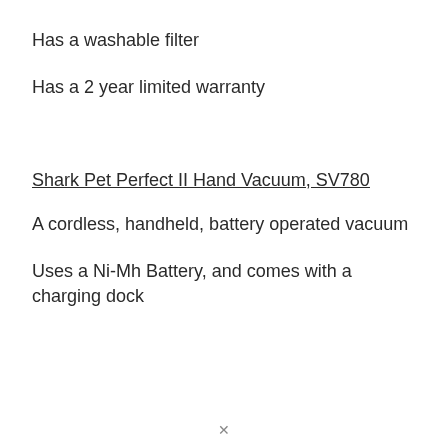Has a washable filter
Has a 2 year limited warranty
Shark Pet Perfect II Hand Vacuum, SV780
A cordless, handheld, battery operated vacuum
Uses a Ni-Mh Battery, and comes with a charging dock